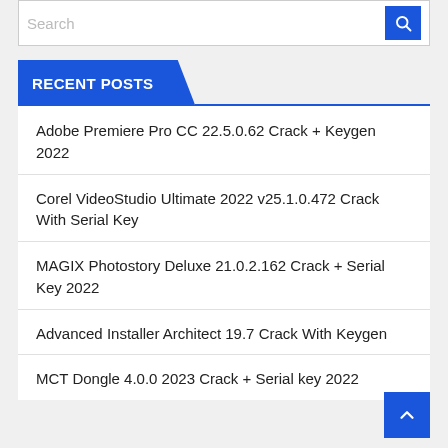Search
RECENT POSTS
Adobe Premiere Pro CC 22.5.0.62 Crack + Keygen 2022
Corel VideoStudio Ultimate 2022 v25.1.0.472 Crack With Serial Key
MAGIX Photostory Deluxe 21.0.2.162 Crack + Serial Key 2022
Advanced Installer Architect 19.7 Crack With Keygen
MCT Dongle 4.0.0 2023 Crack + Serial key 2022